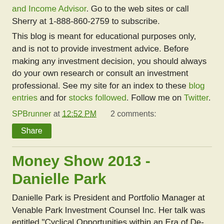and Income Advisor. Go to the web sites or call Sherry at 1-888-860-2759 to subscribe.
This blog is meant for educational purposes only, and is not to provide investment advice. Before making any investment decision, you should always do your own research or consult an investment professional. See my site for an index to these blog entries and for stocks followed. Follow me on Twitter.
SPBrunner at 12:52 PM   2 comments:
Share
Money Show 2013 - Danielle Park
Danielle Park is President and Portfolio Manager at Venable Park Investment Counsel Inc. Her talk was entitled "Cyclical Opportunities within an Era of De-Leveraging: How to Protect and Grow you Capital Over the Full Market Cycles". Her web sites are Venerable Park and Juggling Dynamite.